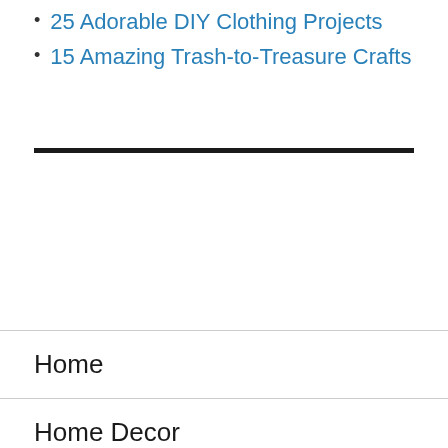25 Adorable DIY Clothing Projects
15 Amazing Trash-to-Treasure Crafts
Home
Home Decor
DIY Crafts
Garden Ideas
Storage Ideas